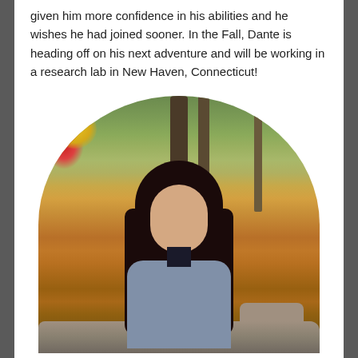given him more confidence in his abilities and he wishes he had joined sooner. In the Fall, Dante is heading off on his next adventure and will be working in a research lab in New Haven, Connecticut!
[Figure (photo): A young woman with long dark hair wearing a dark turtleneck and gray blazer, seated outdoors on stone steps in an autumn forest setting with colorful fall foliage. Photo is cropped in an arch/stadium shape (flat bottom, rounded top).]